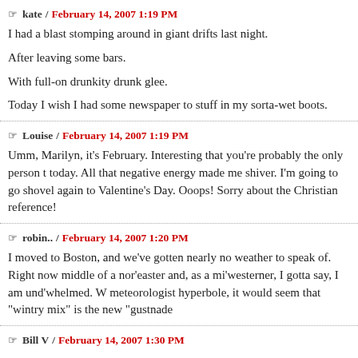kate / February 14, 2007 1:19 PM
I had a blast stomping around in giant drifts last night.

After leaving some bars.

With full-on drunkity drunk glee.

Today I wish I had some newspaper to stuff in my sorta-wet boots.
Louise / February 14, 2007 1:19 PM
Umm, Marilyn, it's February. Interesting that you're probably the only person t today. All that negative energy made me shiver. I'm going to go shovel again to Valentine's Day. Ooops! Sorry about the Christian reference!
robin.. / February 14, 2007 1:20 PM
I moved to Boston, and we've gotten nearly no weather to speak of. Right now middle of a nor'easter and, as a mi'westerner, I gotta say, I am und'whelmed. W meteorologist hyperbole, it would seem that "wintry mix" is the new "gustnade
Bill V / February 14, 2007 1:30 PM